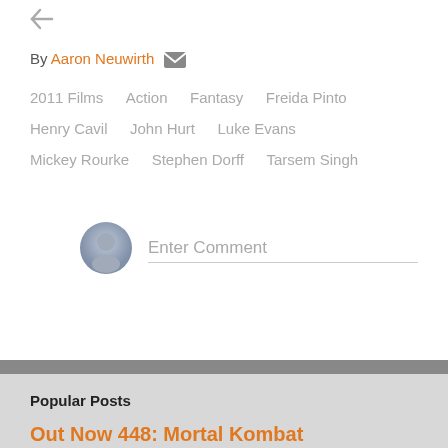By Aaron Neuwirth [email icon]
2011 Films
Action
Fantasy
Freida Pinto
Henry Cavil
John Hurt
Luke Evans
Mickey Rourke
Stephen Dorff
Tarsem Singh
Enter Comment
Popular Posts
Out Now 448: Mortal Kombat
April 29, 2021